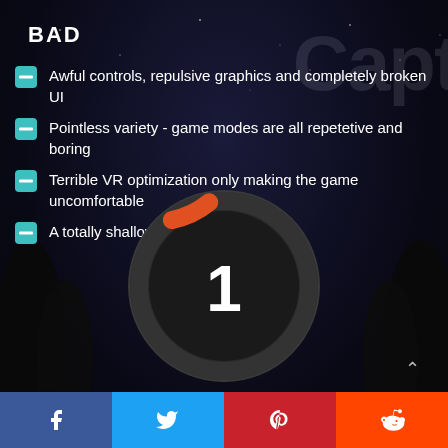BAD
Awful controls, repulsive graphics and completely broken UI
Pointless variety - game modes are all repetetive and boring
Terrible VR optimization only making the game uncomfortable
A totally shallow game
[Figure (donut-chart): A circular gauge/dial showing a score of 1, with an orange arc segment near the top, dark background with outer ring]
Social share buttons: Facebook, Twitter, Pinterest, Reddit